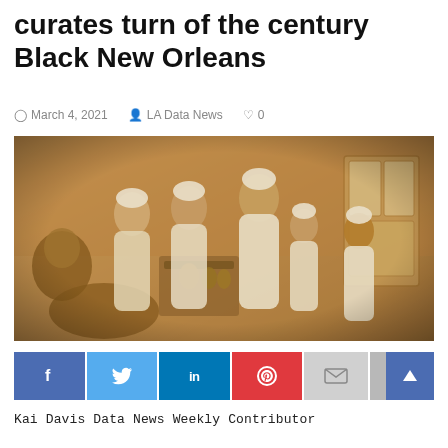curates turn of the century Black New Orleans
March 4, 2021  LA Data News  0
[Figure (photo): Sepia-toned historical photograph of Black medical professionals in surgical/clinical attire performing a medical procedure in an early 20th-century operating or examination room. Multiple figures in white coats and caps are gathered around a patient on a table, with medical equipment and a glass cabinet visible in the background.]
[Figure (infographic): Social media sharing buttons row: Facebook (blue, f), Twitter (light blue, bird), LinkedIn (dark blue, in), Pinterest (red, P symbol), Email (gray, envelope), Bookmark (gray, with blue scroll-up arrow button at far right)]
Kai Davis Data News Weekly Contributor